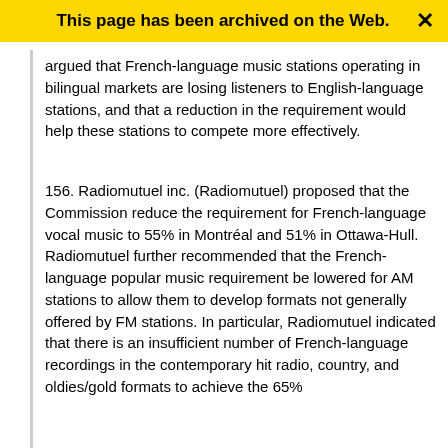This page has been archived on the Web.
argued that French-language music stations operating in bilingual markets are losing listeners to English-language stations, and that a reduction in the requirement would help these stations to compete more effectively.
156. Radiomutuel inc. (Radiomutuel) proposed that the Commission reduce the requirement for French-language vocal music to 55% in Montréal and 51% in Ottawa-Hull. Radiomutuel further recommended that the French-language popular music requirement be lowered for AM stations to allow them to develop formats not generally offered by FM stations. In particular, Radiomutuel indicated that there is an insufficient number of French-language recordings in the contemporary hit radio, country, and oldies/gold formats to achieve the 65%